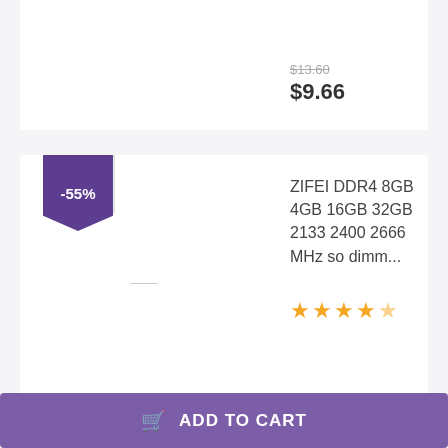$13.60
$9.66
[Figure (photo): Product thumbnail image with -55% discount badge]
ZIFEI DDR4 8GB 4GB 16GB 32GB 2133 2400 2666 MHz so dimm...
[Figure (other): Star rating: approximately 4.5 out of 5 stars]
$32.16 – $246.60
ADD TO CART